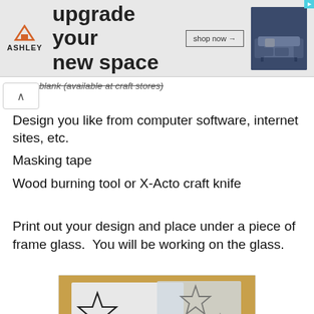[Figure (screenshot): Ashley Furniture advertisement banner showing logo with house icon, text 'upgrade your new space', shop now button, and sofa photo on dark blue background]
blank (Available at craft stores)
Design you like from computer software, internet sites, etc.
Masking tape
Wood burning tool or X-Acto craft knife
Print out your design and place under a piece of frame glass.  You will be working on the glass.
[Figure (photo): Photo of printed star designs on paper placed under glass, showing multiple star outlines of various sizes on white paper over a wooden surface]